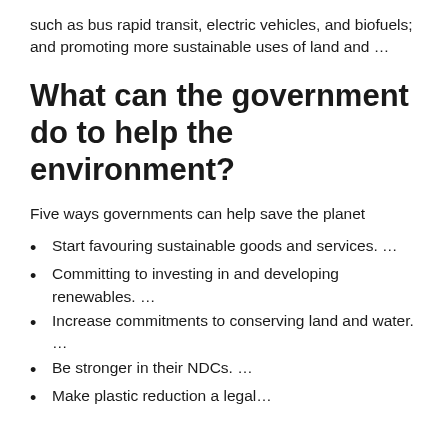such as bus rapid transit, electric vehicles, and biofuels; and promoting more sustainable uses of land and …
What can the government do to help the environment?
Five ways governments can help save the planet
Start favouring sustainable goods and services. …
Committing to investing in and developing renewables. …
Increase commitments to conserving land and water. …
Be stronger in their NDCs. …
Make plastic reduction a legal…